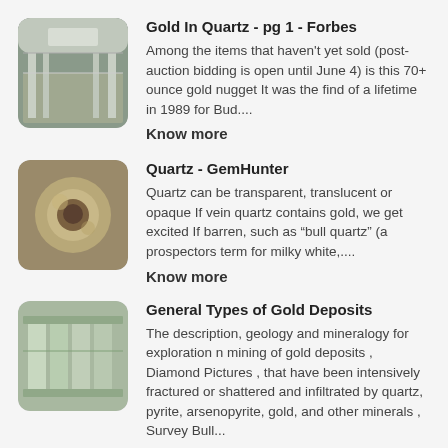[Figure (photo): Thumbnail image of industrial/warehouse interior for Gold In Quartz Forbes article]
Gold In Quartz - pg 1 - Forbes
Among the items that haven't yet sold (post-auction bidding is open until June 4) is this 70+ ounce gold nugget It was the find of a lifetime in 1989 for Bud....
Know more
[Figure (photo): Thumbnail image of quartz rock with gold for GemHunter article]
Quartz - GemHunter
Quartz can be transparent, translucent or opaque If vein quartz contains gold, we get excited If barren, such as “bull quartz” (a prospectors term for milky white,....
Know more
[Figure (photo): Thumbnail image of industrial/mining equipment for General Types of Gold Deposits article]
General Types of Gold Deposits
The description, geology and mineralogy for exploration n mining of gold deposits , Diamond Pictures , that have been intensively fractured or shattered and infiltrated by quartz, pyrite, arsenopyrite, gold, and other minerals , Survey Bull...